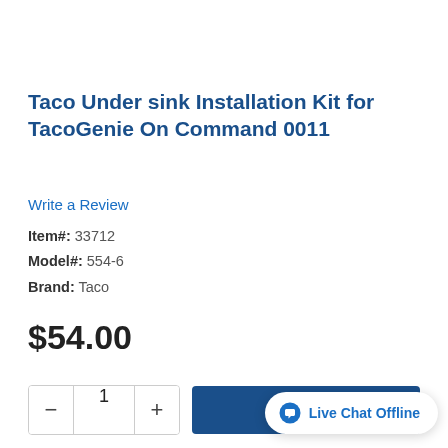Taco Under sink Installation Kit for TacoGenie On Command 0011
Write a Review
Item#: 33712
Model#: 554-6
Brand: Taco
$54.00
In-Stock
Add To [Cart] | Live Chat Offline